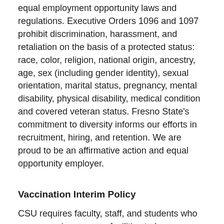equal employment opportunity laws and regulations. Executive Orders 1096 and 1097 prohibit discrimination, harassment, and retaliation on the basis of a protected status: race, color, religion, national origin, ancestry, age, sex (including gender identity), sexual orientation, marital status, pregnancy, mental disability, physical disability, medical condition and covered veteran status. Fresno State's commitment to diversity informs our efforts in recruitment, hiring, and retention. We are proud to be an affirmative action and equal opportunity employer.
Vaccination Interim Policy
CSU requires faculty, staff, and students who are accessing campus facilities to be immunized against COVID-19 or declare a medical or religious exemption from doing so.  Any candidates advanced in a currently open search process should be prepared to comply with